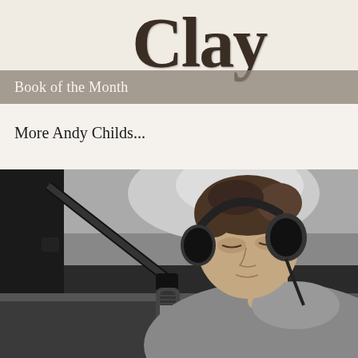Clay
Book of the Month
More Andy Childs...
[Figure (photo): Black and white photograph of a young man wearing headphones, leaning over a microphone on a boom stand in what appears to be a recording studio or radio station setting. He is wearing a grey hoodie and looking downward.]